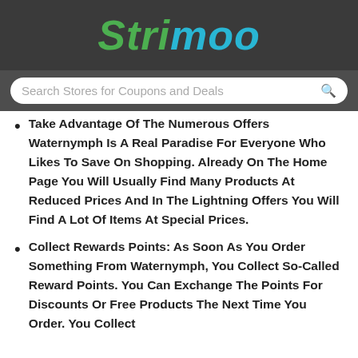Strimoo
Search Stores for Coupons and Deals
Take Advantage Of The Numerous Offers Waternymph Is A Real Paradise For Everyone Who Likes To Save On Shopping. Already On The Home Page You Will Usually Find Many Products At Reduced Prices And In The Lightning Offers You Will Find A Lot Of Items At Special Prices.
Collect Rewards Points: As Soon As You Order Something From Waternymph, You Collect So-Called Reward Points. You Can Exchange The Points For Discounts Or Free Products The Next Time You Order. You Collect